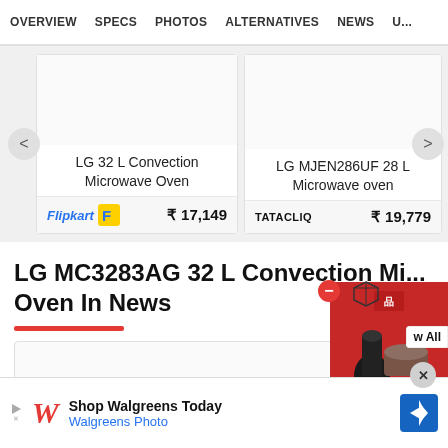OVERVIEW  SPECS  PHOTOS  ALTERNATIVES  NEWS  U...
LG 32 L Convection Microwave Oven
Flipkart  ₹ 17,149
LG MJEN286UF 28 L Microwave oven
TATA CLiQ  ₹ 19,779
LG MC3283AG 32 L Convection Microwave Oven In News
[Figure (screenshot): Product advertisement overlay showing kitchen appliances on red background]
[Figure (screenshot): Walgreens advertisement banner at the bottom of the page]